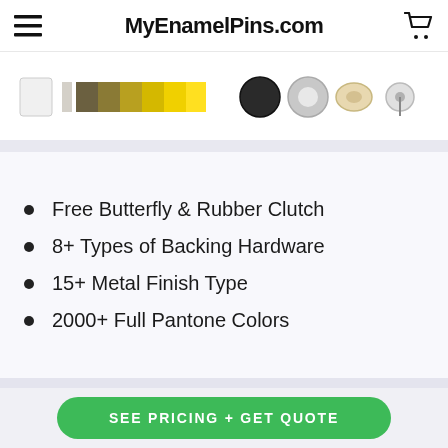MyEnamelPins.com
[Figure (photo): Product image strip showing enamel pin color swatches in white, olive/brown/yellow gradient bar, bright yellow, and pin backing hardware options including black, silver, gold butterfly clutch and rubber clutch]
Free Butterfly & Rubber Clutch
8+ Types of Backing Hardware
15+ Metal Finish Type
2000+ Full Pantone Colors
SEE PRICING + GET QUOTE